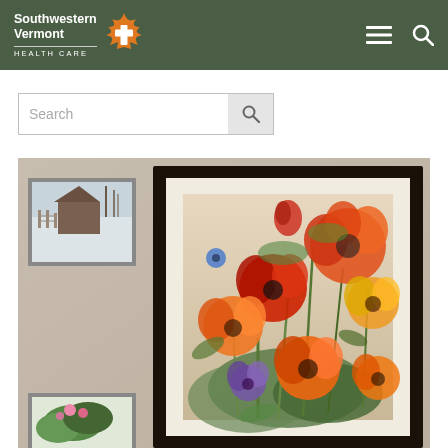Southwestern Vermont Health Care
[Figure (screenshot): Search bar with text input field and search button icon]
[Figure (photo): Framed artwork displayed on a wall in a healthcare facility. The main large frame has a black border and shows a colorful watercolor painting of poppies and flowers in red, orange, yellow, and purple. To the left are two smaller framed artworks: one showing a winter scene with a barn in snow, and one partially visible below.]